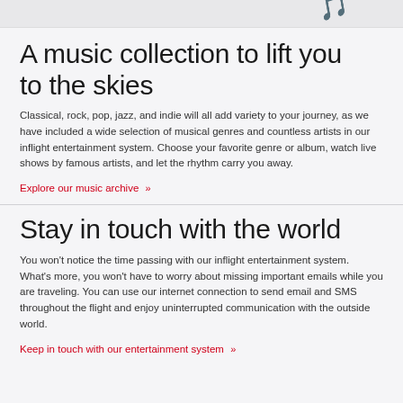[Figure (photo): Partial view of an image at the top of the page, appears to be music-related illustration on light background]
A music collection to lift you to the skies
Classical, rock, pop, jazz, and indie will all add variety to your journey, as we have included a wide selection of musical genres and countless artists in our inflight entertainment system. Choose your favorite genre or album, watch live shows by famous artists, and let the rhythm carry you away.
Explore our music archive »
Stay in touch with the world
You won't notice the time passing with our inflight entertainment system. What's more, you won't have to worry about missing important emails while you are traveling. You can use our internet connection to send email and SMS throughout the flight and enjoy uninterrupted communication with the outside world.
Keep in touch with our entertainment system »